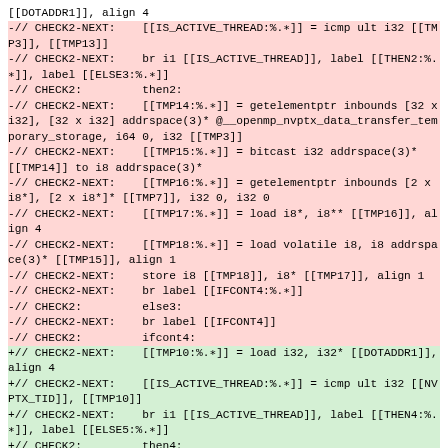[[DOTADDR1]], align 4
-// CHECK2-NEXT:    [[IS_ACTIVE_THREAD:%.∗]] = icmp ult i32 [[TMP3]], [[TMP13]]
-// CHECK2-NEXT:    br i1 [[IS_ACTIVE_THREAD]], label [[THEN2:%.∗]], label [[ELSE3:%.∗]]
-// CHECK2:         then2:
-// CHECK2-NEXT:    [[TMP14:%.∗]] = getelementptr inbounds [32 x i32], [32 x i32] addrspace(3)* @__openmp_nvptx_data_transfer_temporary_storage, i64 0, i32 [[TMP3]]
-// CHECK2-NEXT:    [[TMP15:%.∗]] = bitcast i32 addrspace(3)* [[TMP14]] to i8 addrspace(3)*
-// CHECK2-NEXT:    [[TMP16:%.∗]] = getelementptr inbounds [2 x i8*], [2 x i8*]* [[TMP7]], i32 0, i32 0
-// CHECK2-NEXT:    [[TMP17:%.∗]] = load i8*, i8** [[TMP16]], align 4
-// CHECK2-NEXT:    [[TMP18:%.∗]] = load volatile i8, i8 addrspace(3)* [[TMP15]], align 1
-// CHECK2-NEXT:    store i8 [[TMP18]], i8* [[TMP17]], align 1
-// CHECK2-NEXT:    br label [[IFCONT4:%.∗]]
-// CHECK2:         else3:
-// CHECK2-NEXT:    br label [[IFCONT4]]
-// CHECK2:         ifcont4:
+// CHECK2-NEXT:    [[TMP10:%.∗]] = load i32, i32* [[DOTADDR1]], align 4
+// CHECK2-NEXT:    [[IS_ACTIVE_THREAD:%.∗]] = icmp ult i32 [[NVPTX_TID]], [[TMP10]]
+// CHECK2-NEXT:    br i1 [[IS_ACTIVE_THREAD]], label [[THEN4:%.∗]], label [[ELSE5:%.∗]]
+// CHECK2:         then4: